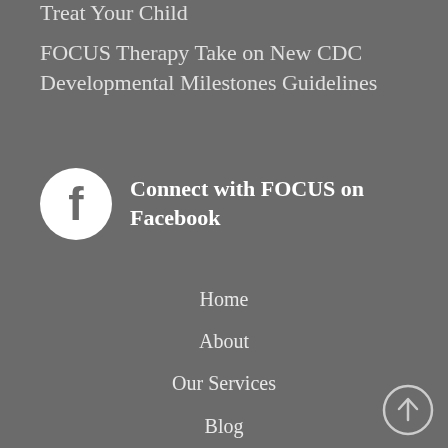Treat Your Child
FOCUS Therapy Take on New CDC Developmental Milestones Guidelines
[Figure (logo): Facebook logo icon - white circle with Facebook 'f' symbol on grey background, next to text 'Connect with FOCUS on Facebook']
Connect with FOCUS on Facebook
Home
About
Our Services
Blog